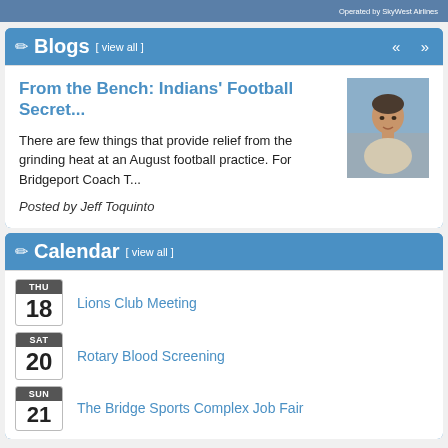Operated by SkyWest Airlines
✏ Blogs [ view all ]
From the Bench: Indians' Football Secret...
There are few things that provide relief from the grinding heat at an August football practice. For Bridgeport Coach T...
Posted by Jeff Toquinto
[Figure (photo): Headshot photo of Jeff Toquinto, a man in a light-colored shirt]
✏ Calendar [ view all ]
THU 18 - Lions Club Meeting
SAT 20 - Rotary Blood Screening
SUN 21 - The Bridge Sports Complex Job Fair